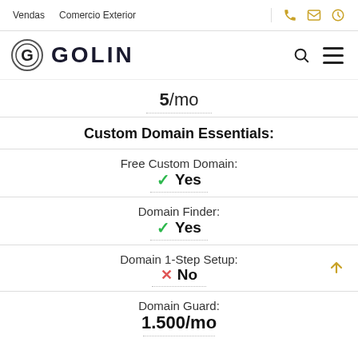Vendas   Comercio Exterior
[Figure (logo): Golin logo with G in circle and GOLIN text]
5/mo
Custom Domain Essentials:
Free Custom Domain:
✓ Yes
Domain Finder:
✓ Yes
Domain 1-Step Setup:
✗ No
Domain Guard:
1.500/mo